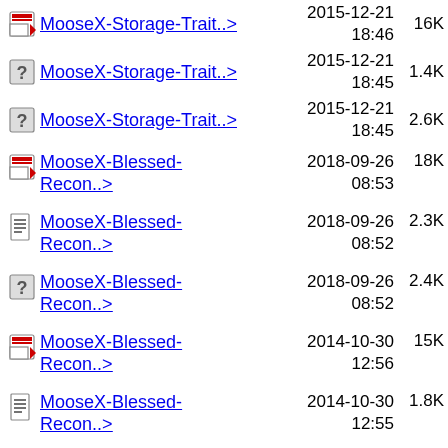MooseX-Storage-Trait..> 2015-12-21 18:46 16K
MooseX-Storage-Trait..> 2015-12-21 18:45 1.4K
MooseX-Storage-Trait..> 2015-12-21 18:45 2.6K
MooseX-Blessed-Recon..> 2018-09-26 08:53 18K
MooseX-Blessed-Recon..> 2018-09-26 08:52 2.3K
MooseX-Blessed-Recon..> 2018-09-26 08:52 2.4K
MooseX-Blessed-Recon..> 2014-10-30 12:56 15K
MooseX-Blessed-Recon..> 2014-10-30 12:55 1.8K
MooseX-Blessed-Recon..> 2014-10-30 12:55 2.2K
MooseX-Blessed-Recon..> 2014-10-30 10:04 15K
MooseX-Blessed-Recon..> 2014-10-30 10:04 1.8K
MooseX-Blessed- 2014-10-30